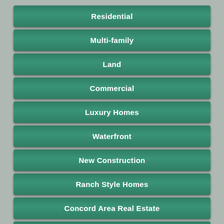Residential
Multi-family
Land
Commercial
Luxury Homes
Waterfront
New Construction
Ranch Style Homes
Concord Area Real Estate